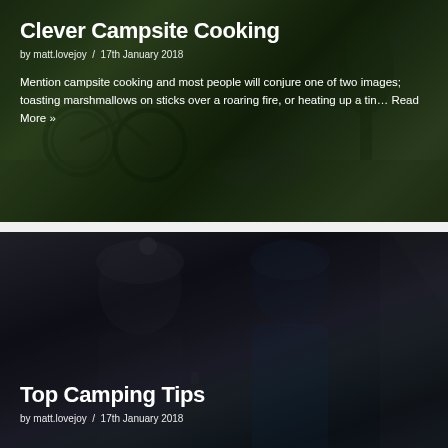[Figure (photo): Background photo of mountain bikes and outdoor camping scene with dark overlay]
Clever Campsite Cooking
by matt.lovejoy / 17th January 2018
Mention campsite cooking and most people will conjure one of two images; toasting marshmallows on sticks over a roaring fire, or heating up a tin... Read More »
[Figure (photo): Background photo of two people in winter hats near a tent at night, dark moody scene]
Top Camping Tips
by matt.lovejoy / 17th January 2018